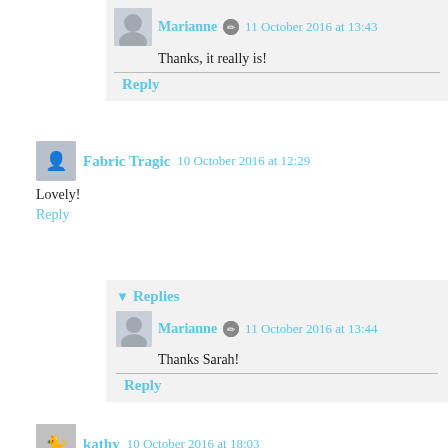Marianne  11 October 2016 at 13:43
Thanks, it really is!
Reply
Fabric Tragic  10 October 2016 at 12:29
Lovely!
Reply
Replies
Marianne  11 October 2016 at 13:44
Thanks Sarah!
Reply
kathy  10 October 2016 at 18:03